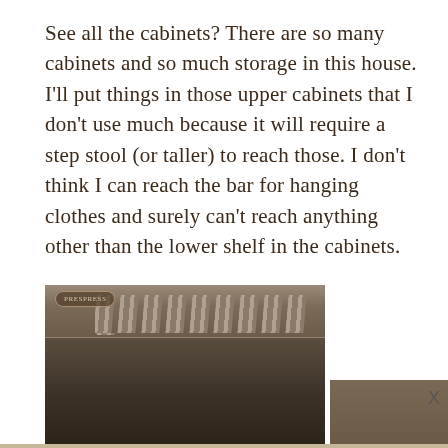See all the cabinets? There are so many cabinets and so much storage in this house. I'll put things in those upper cabinets that I don't use much because it will require a step stool (or taller) to reach those. I don't think I can reach the bar for hanging clothes and surely can't reach anything other than the lower shelf in the cabinets.
[Figure (photo): Interior photo showing ceiling of a closet or storage area with hanging rod, wooden slats or blinds visible, and dark cabinetry below. A small logo/watermark is visible in the upper left corner.]